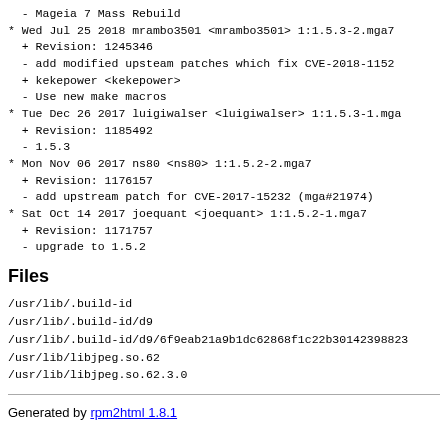- Mageia 7 Mass Rebuild
* Wed Jul 25 2018 mrambo3501 <mrambo3501> 1:1.5.3-2.mga7
  + Revision: 1245346
  - add modified upsteam patches which fix CVE-2018-1152
  + kekepower <kekepower>
  - Use new make macros
* Tue Dec 26 2017 luigiwalser <luigiwalser> 1:1.5.3-1.mga
  + Revision: 1185492
  - 1.5.3
* Mon Nov 06 2017 ns80 <ns80> 1:1.5.2-2.mga7
  + Revision: 1176157
  - add upstream patch for CVE-2017-15232 (mga#21974)
* Sat Oct 14 2017 joequant <joequant> 1:1.5.2-1.mga7
  + Revision: 1171757
  - upgrade to 1.5.2
Files
/usr/lib/.build-id
/usr/lib/.build-id/d9
/usr/lib/.build-id/d9/6f9eab21a9b1dc62868f1c22b30142398823
/usr/lib/libjpeg.so.62
/usr/lib/libjpeg.so.62.3.0
Generated by rpm2html 1.8.1